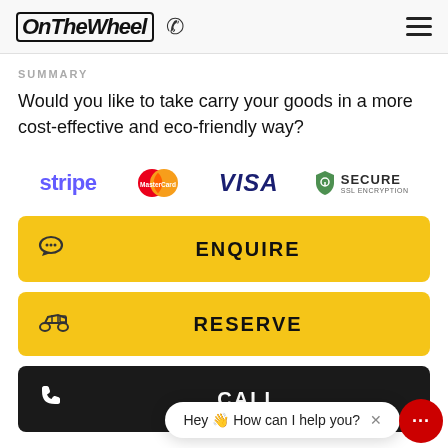[Figure (logo): OnTheWheel logo with stylized handwritten text and phone icon, plus hamburger menu]
SUMMARY
Would you like to take carry your goods in a more cost-effective and eco-friendly way?
[Figure (logo): Payment logos row: Stripe, MasterCard, VISA, Secure SSL Encryption]
[Figure (other): Yellow ENQUIRE button with chat icon]
[Figure (other): Yellow RESERVE button with motorcycle icon]
[Figure (other): Dark CALL button with phone icon]
Hey 👋 How can I help you?